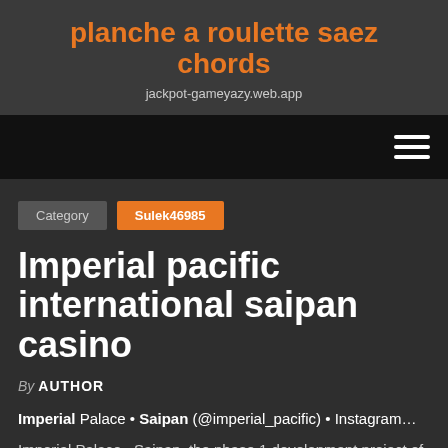planche a roulette saez chords
jackpot-gameyazy.web.app
Category  Sulek46985
Imperial pacific international saipan casino
By AUTHOR
Imperial Palace • Saipan (@imperial_pacific) • Instagram…
Imperial Palace · Saipan, the phase 1 development project of Imperial Pacific International Holdings Limited (HKEx…